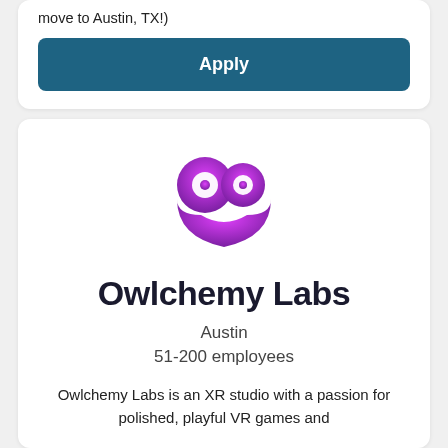move to Austin, TX!)
Apply
[Figure (logo): Owlchemy Labs logo: a pink-to-purple gradient owl/heart shape with circular eyes and a heart-shaped body]
Owlchemy Labs
Austin
51-200 employees
Owlchemy Labs is an XR studio with a passion for polished, playful VR games and